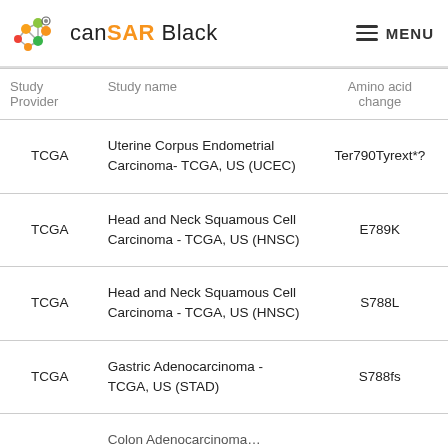canSAR Black  MENU
| Study Provider | Study name | Amino acid change |
| --- | --- | --- |
| TCGA | Uterine Corpus Endometrial Carcinoma- TCGA, US (UCEC) | Ter790Tyrext*? |
| TCGA | Head and Neck Squamous Cell Carcinoma - TCGA, US (HNSC) | E789K |
| TCGA | Head and Neck Squamous Cell Carcinoma - TCGA, US (HNSC) | S788L |
| TCGA | Gastric Adenocarcinoma - TCGA, US (STAD) | S788fs |
|  | Colon Adenocarcinoma… |  |